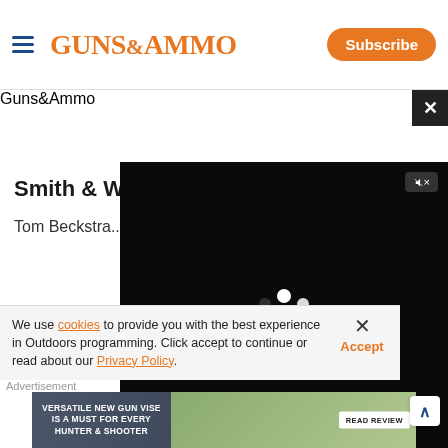Guns & Ammo | Subscribe
[Figure (screenshot): Hero banner showing rocky terrain background with Guns & Ammo watermark and close button]
Smith & We...
Tom Beckstra...
[Figure (screenshot): Video player overlay showing loading spinner, mute button, and playback controls with timestamp 00:00 / 02:06]
We use cookies to provide you with the best experience in Outdoors programming. Click accept to continue or read about our Privacy Policy.
Advertisement
[Figure (screenshot): Advertisement banner: VERSATILE NEW GUN VISE IS A MUST FOR EVERY HUNTER & SHOOTER with READ REVIEW button]